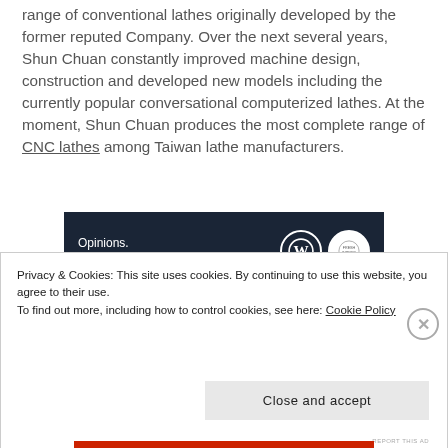range of conventional lathes originally developed by the former reputed Company. Over the next several years, Shun Chuan constantly improved machine design, construction and developed new models including the currently popular conversational computerized lathes. At the moment, Shun Chuan produces the most complete range of CNC lathes among Taiwan lathe manufacturers.
[Figure (other): Advertisement banner with dark navy background. Text reads 'Opinions. We all have them!' with WordPress logo and another circular logo on the right.]
Privacy & Cookies: This site uses cookies. By continuing to use this website, you agree to their use.
To find out more, including how to control cookies, see here: Cookie Policy